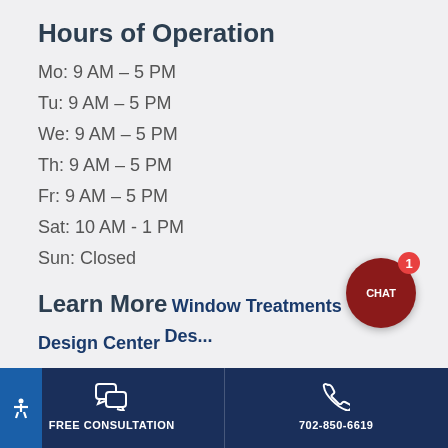Hours of Operation
Mo: 9 AM – 5 PM
Tu: 9 AM – 5 PM
We: 9 AM – 5 PM
Th: 9 AM – 5 PM
Fr: 9 AM – 5 PM
Sat: 10 AM - 1 PM
Sun: Closed
Learn More
Window Treatments
Design Center
[Figure (screenshot): Chat popup overlay with message 'Have a question? We are here to help!' and a close button, plus a chat bubble button with a badge of 1]
FREE CONSULTATION
702-850-6619